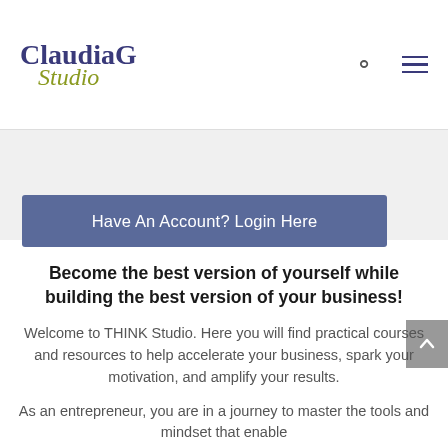[Figure (logo): ClaudiaG Studio logo with dark blue serif text for 'ClaudiaG' and olive/yellow-green italic script for 'Studio']
Have An Account? Login Here
Become the best version of yourself while building the best version of your business!
Welcome to THINK Studio. Here you will find practical courses and resources to help accelerate your business, spark your motivation, and amplify your results.
As an entrepreneur, you are in a journey to master the tools and mindset that enable